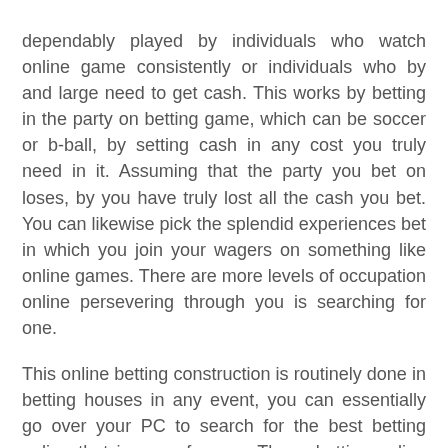dependably played by individuals who watch online game consistently or individuals who by and large need to get cash. This works by betting in the party on betting game, which can be soccer or b-ball, by setting cash in any cost you truly need in it. Assuming that the party you bet on loses, by you have truly lost all the cash you bet. You can likewise pick the splendid experiences bet in which you join your wagers on something like online games. There are more levels of occupation online persevering through you is searching for one.
This online betting construction is routinely done in betting houses in any event, you can essentially go over your PC to search for the best betting online that is open for you. These betting online areas are dissipated in the World Wide Web for you to find. Making the betting online has saved us from consuming such an enormous pile of exertion and time. You ought to ask the betters